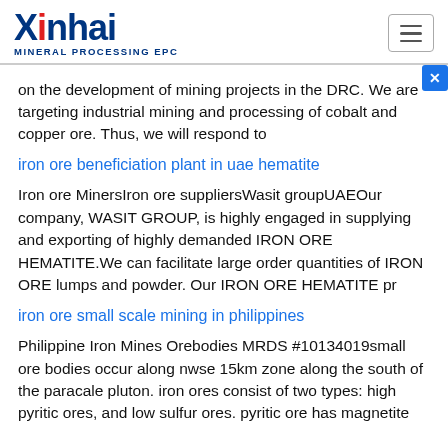Xinhai MINERAL PROCESSING EPC
on the development of mining projects in the DRC. We are targeting industrial mining and processing of cobalt and copper ore. Thus, we will respond to
iron ore beneficiation plant in uae hematite
Iron ore MinersIron ore suppliersWasit groupUAEOur company, WASIT GROUP, is highly engaged in supplying and exporting of highly demanded IRON ORE HEMATITE.We can facilitate large order quantities of IRON ORE lumps and powder. Our IRON ORE HEMATITE pr
iron ore small scale mining in philippines
Philippine Iron Mines Orebodies MRDS #10134019small ore bodies occur along nwse 15km zone along the south of the paracale pluton. iron ores consist of two types: high pyritic ores, and low sulfur ores. pyritic ore has magnetite